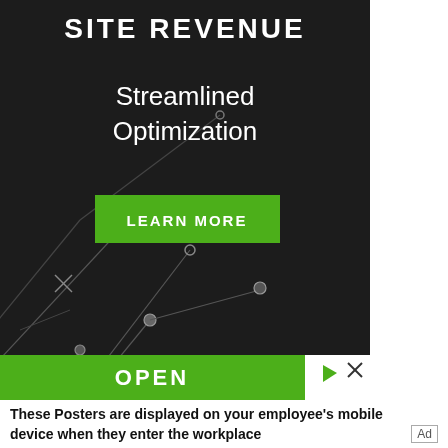[Figure (infographic): Dark background advertisement banner with circuit-board style lines and nodes, showing 'SITE REVENUE' at top, 'Streamlined Optimization' text, a green 'LEARN MORE' button, and a green 'OPEN' button bar at the bottom.]
These Posters are displayed on your employee's mobile device when they enter the workplace
Ad